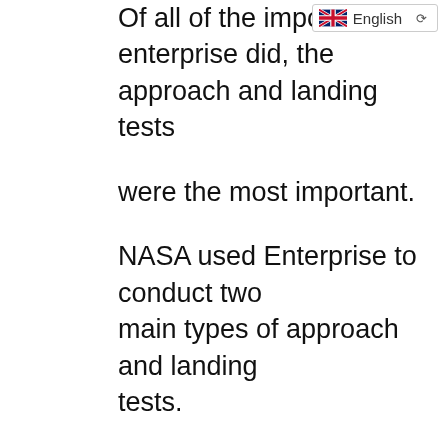Of all of the important things enterprise did, the approach and landing tests were the most important. NASA used Enterprise to conduct two main types of approach and landing tests. The first was testing the shuttle carrier aircraft, or the SCA with the shuttle attached to it. The second was free flight testing, where
[Figure (other): English language selector badge with UK flag]